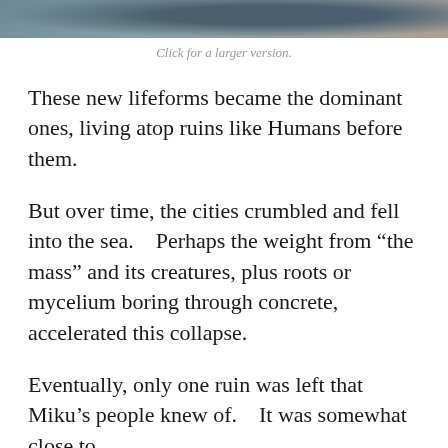[Figure (photo): Partial photograph cropped at top of page, showing what appears to be a person or figure near water]
Click for a larger version.
These new lifeforms became the dominant ones, living atop ruins like Humans before them.
But over time, the cities crumbled and fell into the sea.    Perhaps the weight from “the mass” and its creatures, plus roots or mycelium boring through concrete, accelerated this collapse.
Eventually, only one ruin was left that Miku’s people knew of.    It was somewhat close to